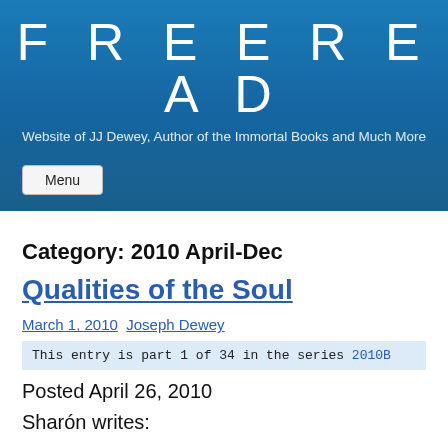FREEREAD
Website of JJ Dewey, Author of the Immortal Books and Much More
Menu
Category: 2010 April-Dec
Qualities of the Soul
March 1, 2010 Joseph Dewey
This entry is part 1 of 34 in the series 2010B
Posted April 26, 2010
Sharón writes: